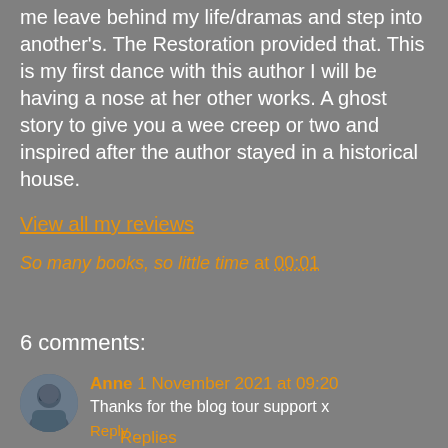me leave behind my life/dramas and step into another's. The Restoration provided that. This is my first dance with this author I will be having a nose at her other works. A ghost story to give you a wee creep or two and inspired after the author stayed in a historical house.
View all my reviews
So many books, so little time at 00:01
Share
6 comments:
Anne 1 November 2021 at 09:20
Thanks for the blog tour support x
Reply
Replies